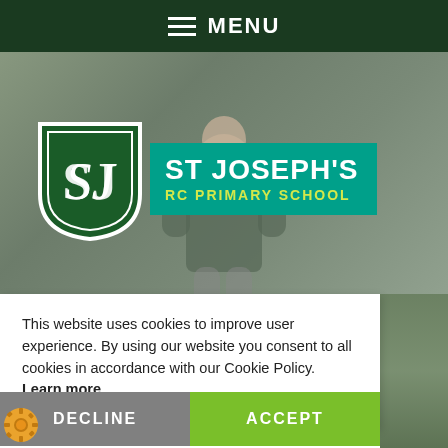MENU
[Figure (logo): St Joseph's RC Primary School logo with green shield and school name banner on teal background]
[Figure (photo): Child in green school cardigan outdoors in playground, blurred background]
This website uses cookies to improve user experience. By using our website you consent to all cookies in accordance with our Cookie Policy. Learn more
DECLINE
ACCEPT